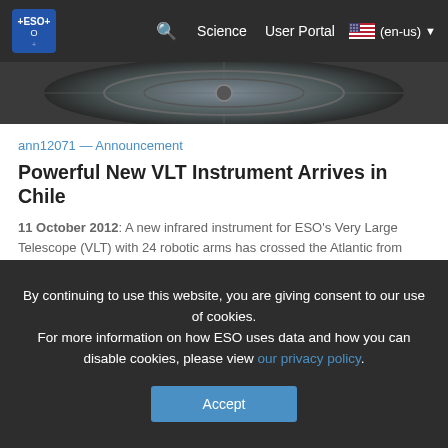ESO navigation: Science | User Portal | (en-us)
[Figure (photo): Close-up photo of a large circular mechanical/optical instrument component, likely a telescope instrument assembly, with metallic structure visible.]
ann12071 — Announcement
Powerful New VLT Instrument Arrives in Chile
11 October 2012: A new infrared instrument for ESO's Very Large Telescope (VLT) with 24 robotic arms has crossed the Atlantic from Edinburgh in the United Kingdom to ESO's Paranal Observatory in northern Chile. When installed later in the year it will address, in more detail than ever before, some of the key questions surrounding the formation and evolution of galaxies. KMOS (K-Band Multi Object Spectrometer) has been provisionally accepted by ESO after it had completed final assembly and testing at the UK Astronomy Technology Centre (UK ATC) in Edinburgh. It will now be fitted to Unit Telescope 1, one of the four telescopes that make up the VLT, and will provide
By continuing to use this website, you are giving consent to our use of cookies.
For more information on how ESO uses data and how you can disable cookies, please view our privacy policy.